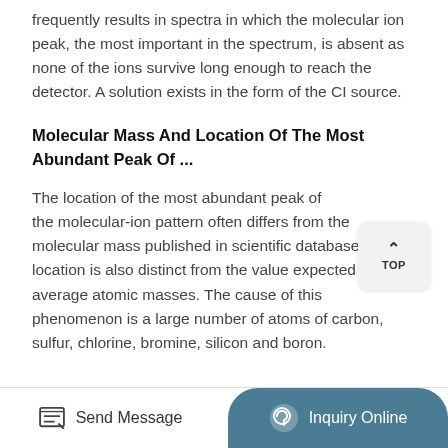frequently results in spectra in which the molecular ion peak, the most important in the spectrum, is absent as none of the ions survive long enough to reach the detector. A solution exists in the form of the CI source.
Molecular Mass And Location Of The Most Abundant Peak Of ...
The location of the most abundant peak of the molecular-ion pattern often differs from the molecular mass published in scientific databases. The location is also distinct from the value expected from average atomic masses. The cause of this phenomenon is a large number of atoms of carbon, sulfur, chlorine, bromine, silicon and boron.